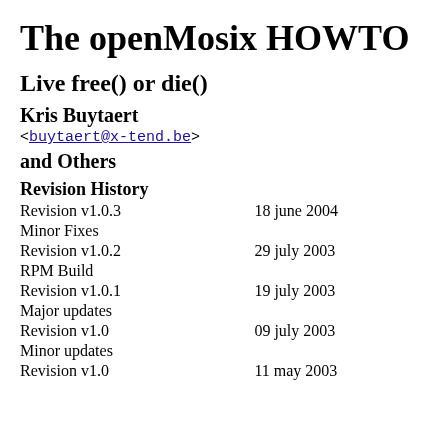The openMosix HOWTO
Live free() or die()
Kris Buytaert
<buytaert@x-tend.be>
and Others
Revision History
| Revision | Date |
| --- | --- |
| Revision v1.0.3 | 18 june 2004 |
| Minor Fixes |  |
| Revision v1.0.2 | 29 july 2003 |
| RPM Build |  |
| Revision v1.0.1 | 19 july 2003 |
| Major updates |  |
| Revision v1.0 | 09 july 2003 |
| Minor updates |  |
| Revision v1.0 | 11 may 2003 |